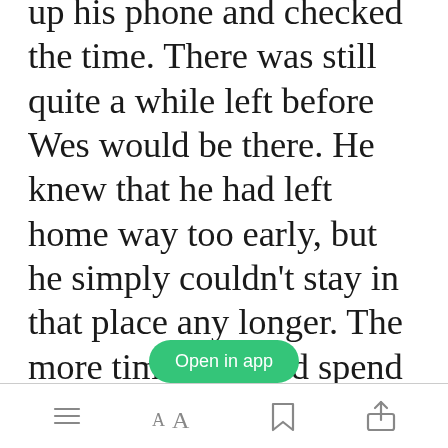up his phone and checked the time. There was still quite a while left before Wes would be there. He knew that he had left home way too early, but he simply couldn't stay in that place any longer. The more time he could spend away, the better. Besides, this way he could look at hot guys. Not that he would ever try to talk to any of them, with or without Wes there. Especially not someone like the guy across the
Open in app
[Figure (screenshot): Mobile reader app bottom navigation bar with icons: menu/list, font size (AA), bookmark, and share]